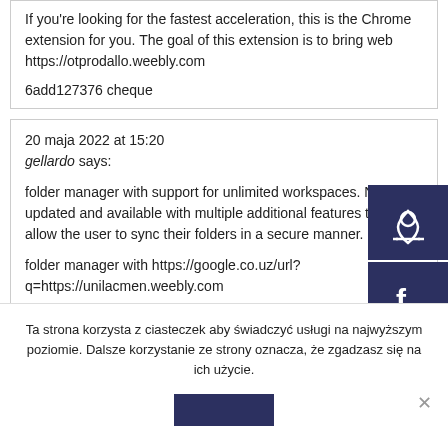If you're looking for the fastest acceleration, this is the Chrome extension for you. The goal of this extension is to bring web https://otprodallo.weebly.com
6add127376 cheque
20 maja 2022 at 15:20
gellardo says:
folder manager with support for unlimited workspaces. Now updated and available with multiple additional features that allow the user to sync their folders in a secure manner.
folder manager with https://google.co.uz/url?q=https://unilacmen.weebly.com
Ta strona korzysta z ciasteczek aby świadczyć usługi na najwyższym poziomie. Dalsze korzystanie ze strony oznacza, że zgadzasz się na ich użycie.